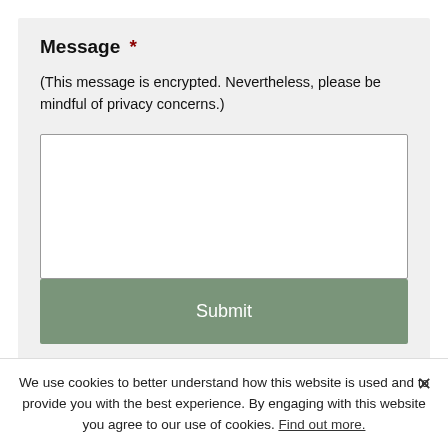Message *
(This message is encrypted. Nevertheless, please be mindful of privacy concerns.)
[Figure (screenshot): Empty textarea input box with white background and gray border]
Submit
The na…ing
There is no denying that time causes our bodies to
We use cookies to better understand how this website is used and to provide you with the best experience. By engaging with this website you agree to our use of cookies. Find out more.